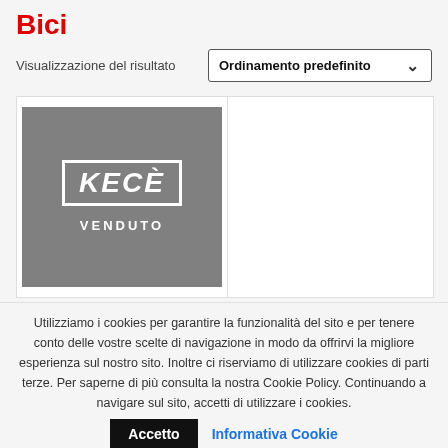Bici
Visualizzazione del risultato
Ordinamento predefinito
[Figure (logo): KECE brand logo on grey background with VENDUTO label below]
Utilizziamo i cookies per garantire la funzionalità del sito e per tenere conto delle vostre scelte di navigazione in modo da offrirvi la migliore esperienza sul nostro sito. Inoltre ci riserviamo di utilizzare cookies di parti terze. Per saperne di più consulta la nostra Cookie Policy. Continuando a navigare sul sito, accetti di utilizzare i cookies.
Accetto
Informativa Cookie